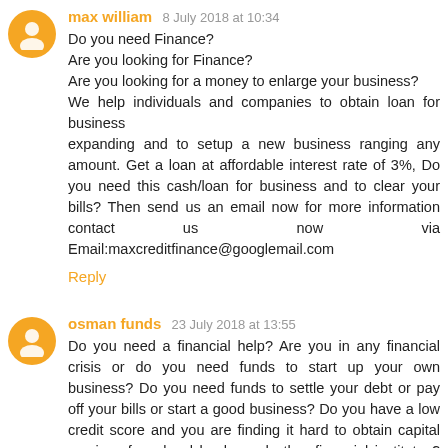max william 8 July 2018 at 10:34
Do you need Finance?
Are you looking for Finance?
Are you looking for a money to enlarge your business?
We help individuals and companies to obtain loan for business expanding and to setup a new business ranging any amount. Get a loan at affordable interest rate of 3%, Do you need this cash/loan for business and to clear your bills? Then send us an email now for more information contact us now via Email:maxcreditfinance@googlemail.com
Reply
osman funds 23 July 2018 at 13:55
Do you need a financial help? Are you in any financial crisis or do you need funds to start up your own business? Do you need funds to settle your debt or pay off your bills or start a good business? Do you have a low credit score and you are finding it hard to obtain capital services from local banks and other financial institutes? Here is your chance to